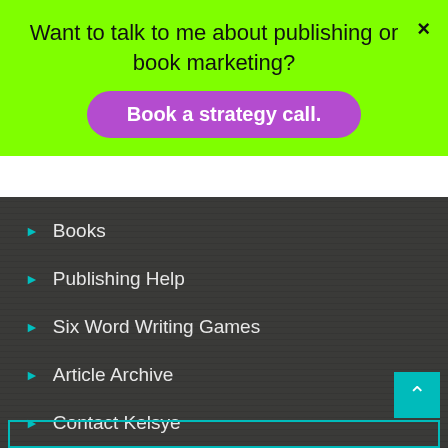Want to talk to me about publishing or book marketing?
Book a strategy call.
Books
Publishing Help
Six Word Writing Games
Article Archive
Contact Kelsye
Work with Kelsye